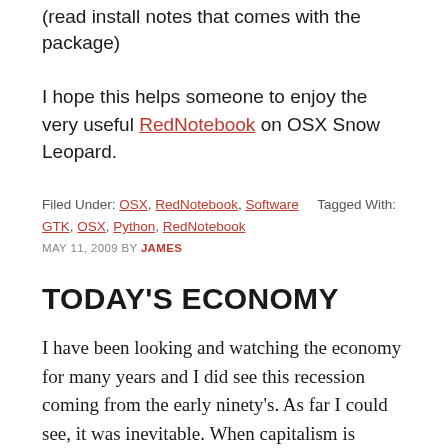(read install notes that comes with the package)
I hope this helps someone to enjoy the very useful RedNotebook on OSX Snow Leopard.
Filed Under: OSX, RedNotebook, Software   Tagged With: GTK, OSX, Python, RedNotebook
MAY 11, 2009 BY JAMES
TODAY'S ECONOMY
I have been looking and watching the economy for many years and I did see this recession coming from the early ninety's. As far I could see, it was inevitable. When capitalism is allowed to take such a hold because regulations are relaxed 'to allow